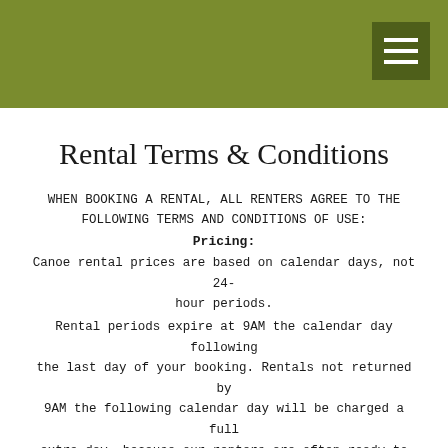Rental Terms & Conditions
WHEN BOOKING A RENTAL, ALL RENTERS AGREE TO THE FOLLOWING TERMS AND CONDITIONS OF USE:
Pricing:
Canoe rental prices are based on calendar days, not 24-hour periods.
Rental periods expire at 9AM the calendar day following the last day of your booking. Rentals not returned by 9AM the following calendar day will be charged a full extra day, because our renters are often ready to pick up their equipment first thing in the morning.
We have no half-day or hourly rental rates. We have no wrap-around rates. It is the renter's responsibility to make note of our store hours, and to plan their trip